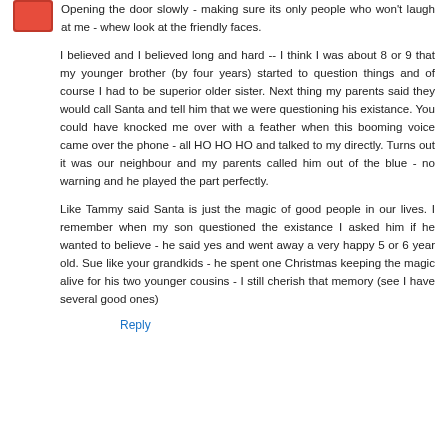Opening the door slowly - making sure its only people who won't laugh at me - whew look at the friendly faces.
I believed and I believed long and hard -- I think I was about 8 or 9 that my younger brother (by four years) started to question things and of course I had to be superior older sister. Next thing my parents said they would call Santa and tell him that we were questioning his existance. You could have knocked me over with a feather when this booming voice came over the phone - all HO HO HO and talked to my directly. Turns out it was our neighbour and my parents called him out of the blue - no warning and he played the part perfectly.
Like Tammy said Santa is just the magic of good people in our lives. I remember when my son questioned the existance I asked him if he wanted to believe - he said yes and went away a very happy 5 or 6 year old. Sue like your grandkids - he spent one Christmas keeping the magic alive for his two younger cousins - I still cherish that memory (see I have several good ones)
Reply